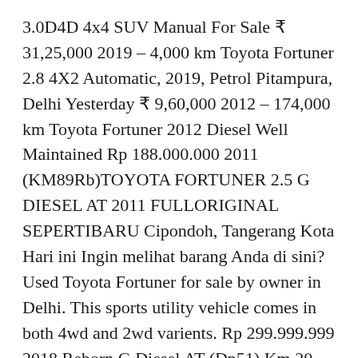3.0D4D 4x4 SUV Manual For Sale ₹ 31,25,000 2019 – 4,000 km Toyota Fortuner 2.8 4X2 Automatic, 2019, Petrol Pitampura, Delhi Yesterday ₹ 9,60,000 2012 – 174,000 km Toyota Fortuner 2012 Diesel Well Maintained Rp 188.000.000 2011 (KM89Rb)TOYOTA FORTUNER 2.5 G DIESEL AT 2011 FULLORIGINAL SEPERTIBARU Cipondoh, Tangerang Kota Hari ini Ingin melihat barang Anda di sini? Used Toyota Fortuner for sale by owner in Delhi. This sports utility vehicle comes in both 4wd and 2wd varients. Rp 299.999.999 2018 Reborn G Diesel AT (Dp51) Km 20 Rb 2018/2019 #Fortuner pajero. There are 413 Used Toyota Fortuner Cars in Delhi available for sale online in two different pricing formats – Fixed Price